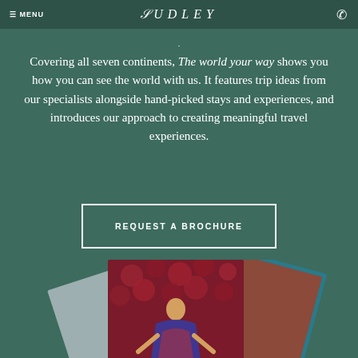MENU | AUDLEY
Covering all seven continents, The world your way shows you how you can see the world with us. It features trip ideas from our specialists alongside hand-picked stays and experiences, and introduces our approach to creating meaningful travel experiences.
REQUEST A BROCHURE
[Figure (photo): Fan of travel brochures, with the top brochure showing 'The world your way' title and an illustrated figure of a person in colorful clothing against a floral background]